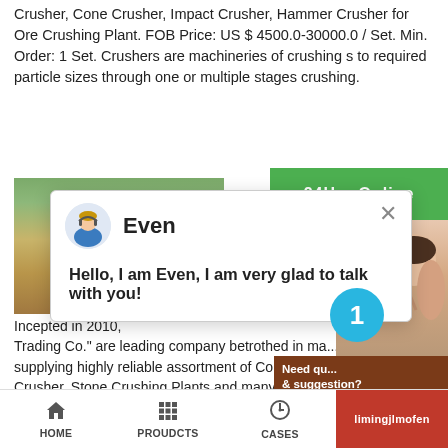Crusher, Cone Crusher, Impact Crusher, Hammer Crusher for Ore Crushing Plant. FOB Price: US $ 4500.0-30000.0 / Set. Min. Order: 1 Set. Crushers are machineries of crushing s to required particle sizes through one or multiple stages crushing.
[Figure (screenshot): Chat popup overlay with avatar of 'Even', message 'Hello, I am Even, I am very glad to talk with you!', with a close button X. Behind it: a photo of sandy/soil ground with green trees, and a green header bar partially visible.]
Incepted in 2010, Trading Co." are leading company betrothed in ma... supplying highly reliable assortment of Conveyor B... Crusher, Stone Crushing Plants and many more. T... generally
[Figure (screenshot): Right side panel with circular blue badge showing '1', 'Need qu... & suggestion?' text box, 'Chat Now' button, 'Enquiry' button, and 'limingjlmofen' tab.]
HOME   PROUDCTS   CASES   limingjlmofen